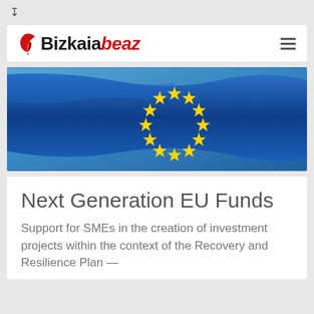Bizkaiabeaz
[Figure (photo): European Union flag waving against a blue sky background, showing the circle of 12 golden stars on a blue field]
Next Generation EU Funds
Support for SMEs in the creation of investment projects within the context of the Recovery and Resilience Plan —